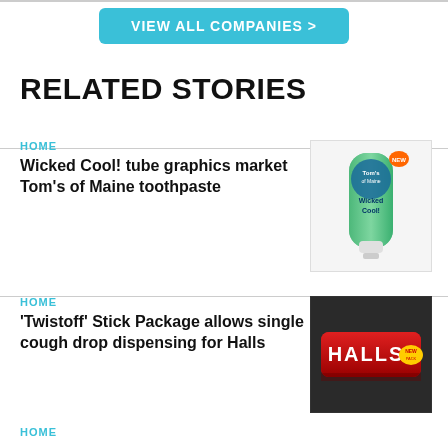VIEW ALL COMPANIES >
RELATED STORIES
HOME
Wicked Cool! tube graphics market Tom's of Maine toothpaste
[Figure (photo): Tom's of Maine Wicked Cool toothpaste tube with green and teal packaging]
HOME
'Twistoff' Stick Package allows single cough drop dispensing for Halls
[Figure (photo): Halls cough drops red stick package on dark background]
HOME